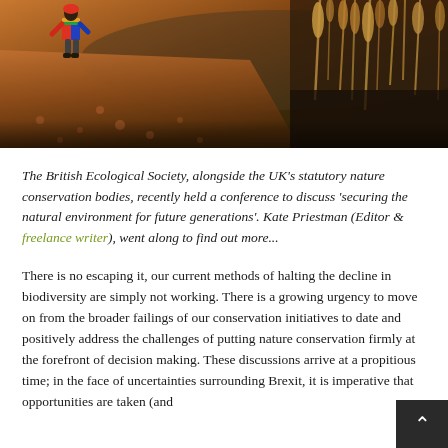[Figure (photo): Outdoor nature photo showing a child in a colorful jacket walking along a gravel path beside a body of water with tall reeds/grasses on the right side, taken in warm golden light]
The British Ecological Society, alongside the UK's statutory nature conservation bodies, recently held a conference to discuss 'securing the natural environment for future generations'. Kate Priestman (Editor & freelance writer), went along to find out more...
There is no escaping it, our current methods of halting the decline in biodiversity are simply not working. There is a growing urgency to move on from the broader failings of our conservation initiatives to date and positively address the challenges of putting nature conservation firmly at the forefront of decision making. These discussions arrive at a propitious time; in the face of uncertainties surrounding Brexit, it is imperative that opportunities are taken (and